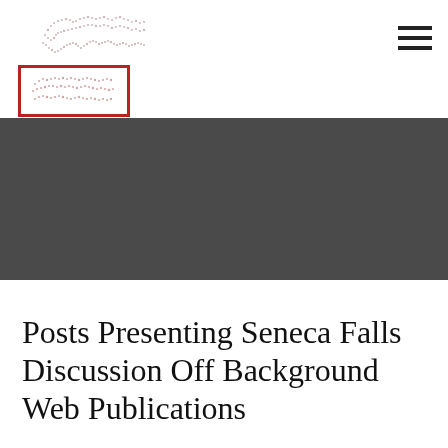[Figure (logo): Organization logo: dotted world map image on top, with a red-bordered rectangular box below containing a smaller dotted world map]
[Figure (other): Hamburger menu icon (three horizontal lines) in top right corner]
[Figure (other): Dark grey/charcoal banner/hero image area]
Posts Presenting Seneca Falls Discussion Off Background Web Publications